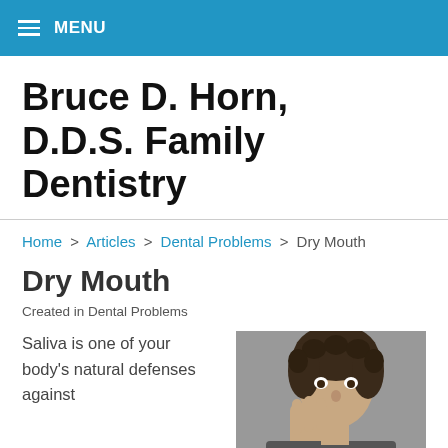MENU
Bruce D. Horn, D.D.S. Family Dentistry
Home > Articles > Dental Problems > Dry Mouth
Dry Mouth
Created in Dental Problems
Saliva is one of your body's natural defenses against
[Figure (photo): A man with curly dark hair resting his hand on his cheek, looking surprised or concerned]